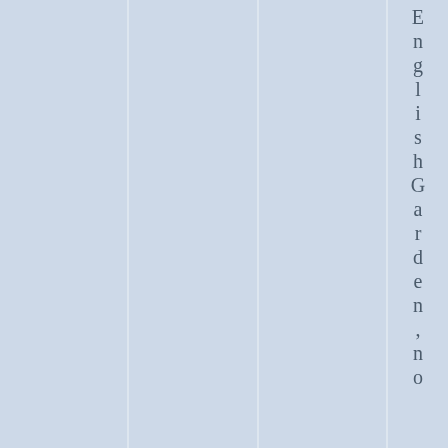[Figure (other): Page with light blue vertical stripe columns and vertical text reading 'English Garden, no' along the right side]
English Garden, no